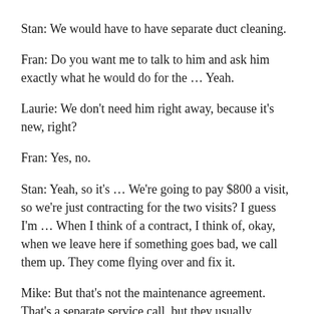Stan: We would have to have separate duct cleaning.
Fran: Do you want me to talk to him and ask him exactly what he would do for the … Yeah.
Laurie: We don’t need him right away, because it’s new, right?
Fran: Yes, no.
Stan: Yeah, so it’s … We’re going to pay $800 a visit, so we’re just contracting for the two visits? I guess I’m … When I think of a contract, I think of, okay, when we leave here if something goes bad, we call them up. They come flying over and fix it.
Mike: But that’s not the maintenance agreement. That’s a separate service call, but they usually, because you have a